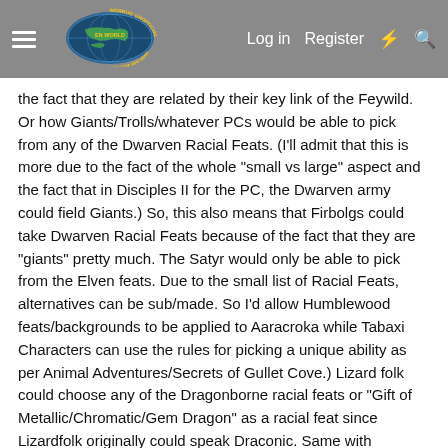Morrus' Unofficial Tabletop RPG News — Log in  Register
the fact that they are related by their key link of the Feywild. Or how Giants/Trolls/whatever PCs would be able to pick from any of the Dwarven Racial Feats. (I'll admit that this is more due to the fact of the whole "small vs large" aspect and the fact that in Disciples II for the PC, the Dwarven army could field Giants.) So, this also means that Firbolgs could take Dwarven Racial Feats because of the fact that they are "giants" pretty much. The Satyr would only be able to pick from the Elven feats. Due to the small list of Racial Feats, alternatives can be sub/made. So I'd allow Humblewood feats/backgrounds to be applied to Aaracroka while Tabaxi Characters can use the rules for picking a unique ability as per Animal Adventures/Secrets of Gullet Cove.) Lizard folk could choose any of the Dragonborne racial feats or "Gift of Metallic/Chromatic/Gem Dragon" as a racial feat since Lizardfolk originally could speak Draconic. Same with Kobold/Yuan-Ti. Shadar-Kai can choose from